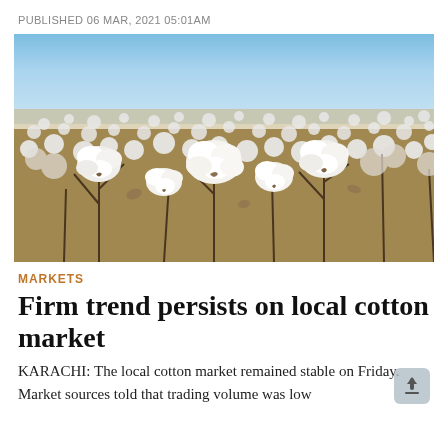PUBLISHED 06 MAR, 2021 05:01AM
[Figure (photo): A cotton field with white open cotton bolls on plants, photographed close up with more cotton plants visible in the background under a blue sky.]
MARKETS
Firm trend persists on local cotton market
KARACHI: The local cotton market remained stable on Friday. Market sources told that trading volume was low